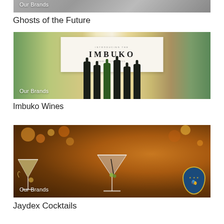[Figure (photo): Partially visible image at top of page with 'Our Brands' label overlay — appears to be an animal/wildlife themed image, partially cropped]
Ghosts of the Future
[Figure (photo): Photo of Imbuko wine bottles lined up in front of an IMBUKO branded sign, with green tents and countryside in the background. Label 'Our Brands' in bottom-left corner.]
Imbuko Wines
[Figure (photo): Photo of cocktail glasses (martini glasses with drinks) against warm bokeh lighting background, with a blue and gold circular badge/logo in the bottom-right. Label 'Our Brands' in bottom-left corner.]
Jaydex Cocktails